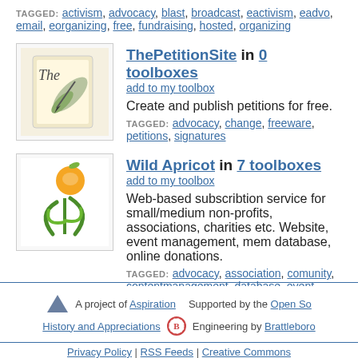TAGGED: activism, advocacy, blast, broadcast, eactivism, eadvo, email, eorganizing, free, fundraising, hosted, organizing
ThePetitionSite in 0 toolboxes
add to my toolbox
Create and publish petitions for free.
TAGGED: advocacy, change, freeware, petitions, signatures
Wild Apricot in 7 toolboxes
add to my toolbox
Web-based subscribtion service for small/medium non-profits, associations, charities etc. Website, event management, mem database, online donations.
TAGGED: advocacy, association, comunity, contentmanagement, database, event, eventmanagement, meetings, membership, online_registration, website
A project of Aspiration  Supported by the Open So  History and Appreciations  Engineering by Brattleboro  Privacy Policy | RSS Feeds | Creative Commons